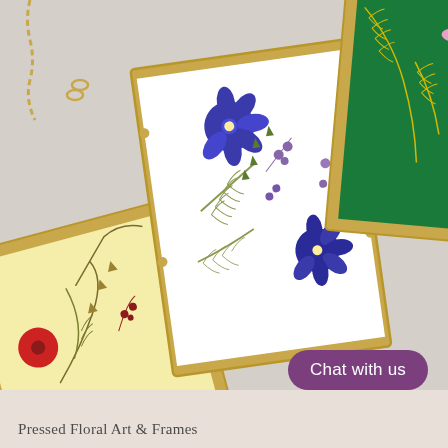[Figure (photo): Three gold-framed pressed floral art pieces arranged diagonally on a light surface. Left frame has yellow background with red daisies and dried botanical stems. Center frame has white background with blue/purple delphinium flowers and ferns. Right frame has dark green background with pink flowers and yellow botanical sprigs. A gold chain hangs from the top-left frame.]
Chat with us
Pressed Floral Art & Frames